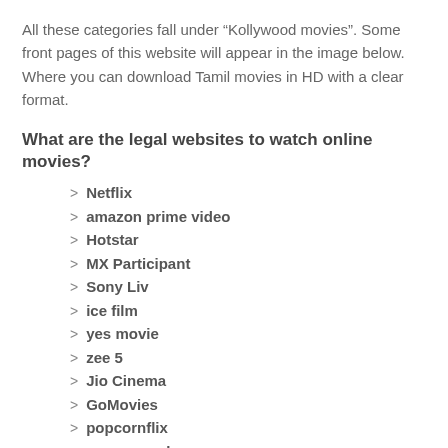All these categories fall under “Kollywood movies”. Some front pages of this website will appear in the image below. Where you can download Tamil movies in HD with a clear format.
What are the legal websites to watch online movies?
Netflix
amazon prime video
Hotstar
MX Participant
Sony Liv
ice film
yes movie
zee 5
Jio Cinema
GoMovies
popcornflix
sony crunch